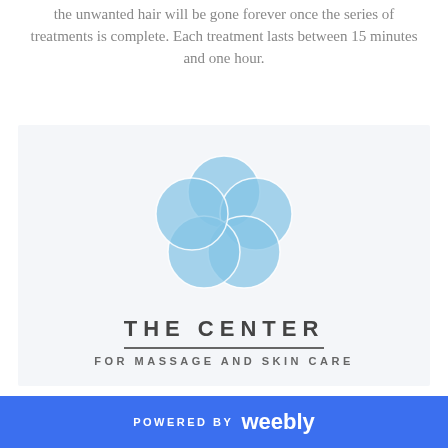the unwanted hair will be gone forever once the series of treatments is complete. Each treatment lasts between 15 minutes and one hour.
[Figure (logo): The Center for Massage and Skin Care logo: a flower-like design made of overlapping blue circles, above the text 'THE CENTER' in large spaced capitals with a horizontal rule, and 'FOR MASSAGE AND SKIN CARE' in smaller spaced capitals below.]
POWERED BY weebly